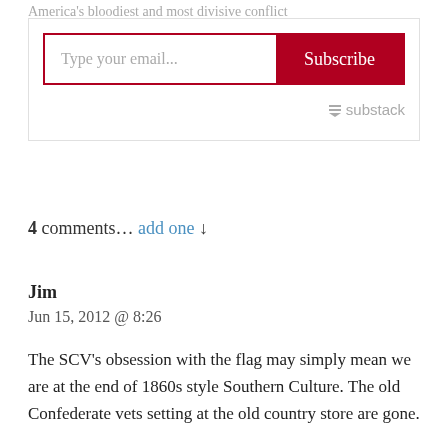America's bloodiest and most divisive conflict
[Figure (other): Email subscription form with text input placeholder 'Type your email...' and red Subscribe button]
substack
4 comments… add one ↓
Jim
Jun 15, 2012 @ 8:26
The SCV's obsession with the flag may simply mean we are at the end of 1860s style Southern Culture. The old Confederate vets setting at the old country store are gone.